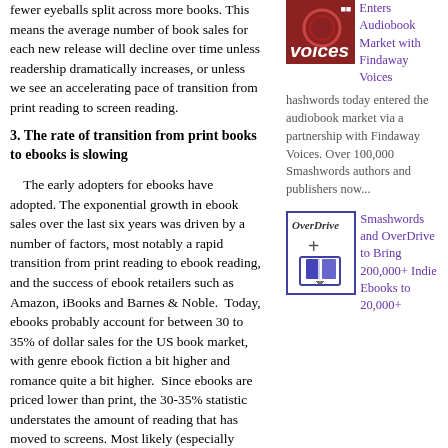fewer eyeballs split across more books. This means the average number of book sales for each new release will decline over time unless readership dramatically increases, or unless we see an accelerating pace of transition from print reading to screen reading.
3. The rate of transition from print books to ebooks is slowing
The early adopters for ebooks have adopted. The exponential growth in ebook sales over the last six years was driven by a number of factors, most notably a rapid transition from print reading to ebook reading, and the success of ebook retailers such as Amazon, iBooks and Barnes & Noble. Today, ebooks probably account for between 30 to 35% of dollar sales for the US book market, with genre ebook fiction a bit higher and romance quite a bit higher. Since ebooks are priced lower than print, the 30-35% statistic understates the amount of reading that has moved to screens. Most likely (especially when you include free ebooks), screen reading in the ebook format today probably accounts for around half or more of all book words read. But the rate of
[Figure (illustration): Findaway Voices logo/thumbnail - dark red background with 'voices' text in white italic and small logo mark]
Smashwords and OverDrive to Bring 200,000+ Indie Ebooks to 20,000+
hashwords today entered the audiobook market via a partnership with Findaway Voices. Over 100,000 Smashwords authors and publishers now...
[Figure (illustration): OverDrive logo with plus sign and book icon, blue bordered box]
Smashwords and OverDrive to Bring 200,000+ Indie Ebooks to 20,000+